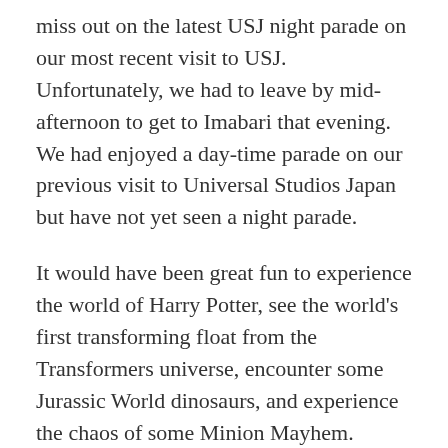miss out on the latest USJ night parade on our most recent visit to USJ. Unfortunately, we had to leave by mid-afternoon to get to Imabari that evening. We had enjoyed a day-time parade on our previous visit to Universal Studios Japan but have not yet seen a night parade.
It would have been great fun to experience the world of Harry Potter, see the world's first transforming float from the Transformers universe, encounter some Jurassic World dinosaurs, and experience the chaos of some Minion Mayhem. Apparently the projection mappings used on buildings during the parade are also fantastic.
Here are some photos of the day parade from our first visit to USJ.